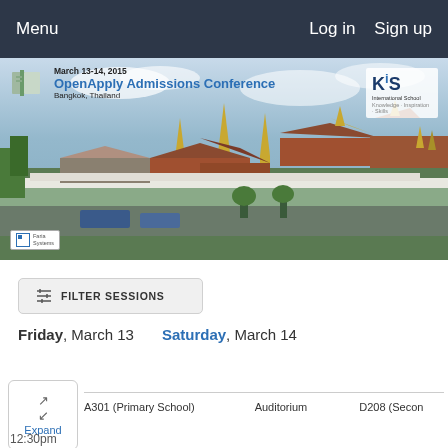Menu   Log in   Sign up
[Figure (photo): OpenApply Admissions Conference banner showing Bangkok Thailand skyline with temples and golden spires. March 13-14, 2015. KIS International School logo top right. Faria Systems logo bottom left.]
FILTER SESSIONS
Friday, March 13    Saturday, March 14
A301 (Primary School)   Auditorium   D208 (Secon...
Expand
12:30pm